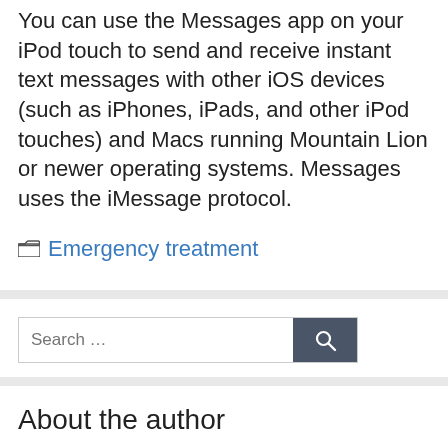You can use the Messages app on your iPod touch to send and receive instant text messages with other iOS devices (such as iPhones, iPads, and other iPod touches) and Macs running Mountain Lion or newer operating systems. Messages uses the iMessage protocol.
Categories: Emergency treatment
[Figure (screenshot): Search box with placeholder text 'Search ...' and a dark blue-gray Search button with a magnifying glass icon]
About the author